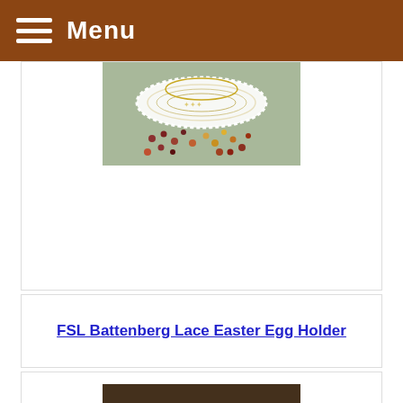Menu
[Figure (photo): Lace doily with colorful beads scattered around it on a fabric surface]
FSL Battenberg Lace Easter Egg Holder
[Figure (photo): Pink lace flower hair accessory worn in dark hair, showing intricate FSL battenberg lace work with pearl bead border]